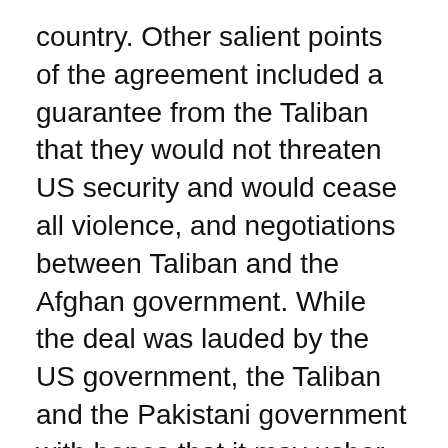country. Other salient points of the agreement included a guarantee from the Taliban that they would not threaten US security and would cease all violence, and negotiations between Taliban and the Afghan government. While the deal was lauded by the US government, the Taliban and the Pakistani government with hopes that it may usher in an era of peace in Afghanistan, others were less optimistic.
Afghan President Ashraf Ghani, expressed reservations about the release of 5000 Taliban prisoners as one of the conditions specified in the peace agreement. Other quarters including US-based analysts and human rights groups shared serious concerns